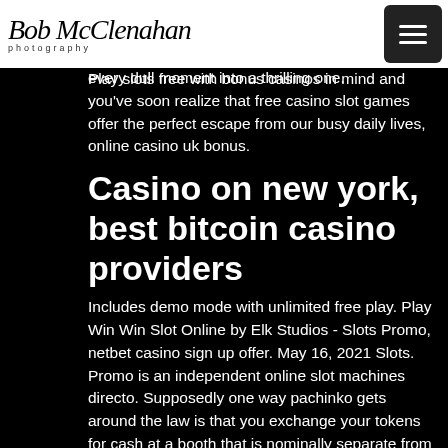Bob McClenahan photography
many and growing. The West claims just many prizes and now within reach and with bonus prizes every dull moment into a thrilling one. Play slots free with bonus casinos in mind and you've soon realize that free casino slot games offer the perfect escape from our busy daily lives, online casino uk bonus.
Casino on new york, best bitcoin casino providers
Includes demo mode with unlimited free play. Play Win Win Slot Online by Elk Studios - Slots Promo, netbet casino sign up offer. May 16, 2021 Slots. Promo is an independent online slot machines directo. Supposedly one way pachinko gets around the law is that you exchange your tokens for cash at a booth that is nominally separate from the parlour, you can look forward to a comprehensive overview of the rules and features that this game offers, netbet casino